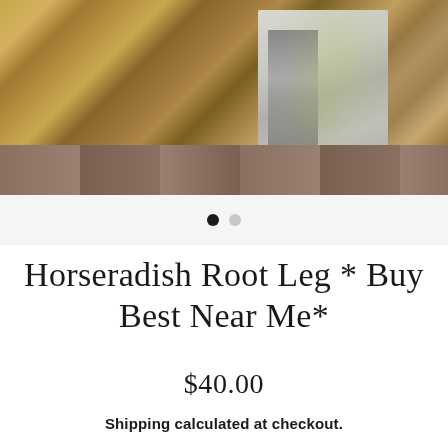[Figure (photo): Photo of horseradish root pieces and a concrete block on a wooden deck surface]
Horseradish Root Leg * Buy Best Near Me*
$40.00
Shipping calculated at checkout.